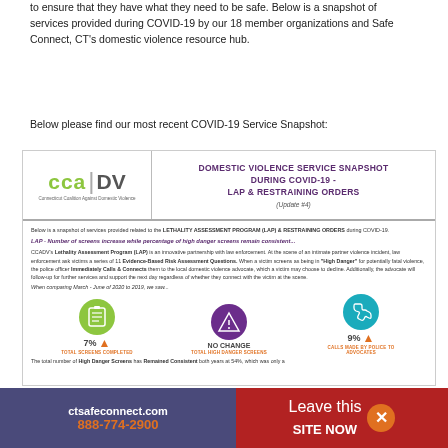to ensure that they have what they need to be safe. Below is a snapshot of services provided during COVID-19 by our 18 member organizations and Safe Connect, CT's domestic violence resource hub.
Below please find our most recent COVID-19 Service Snapshot:
[Figure (infographic): CCADV Domestic Violence Service Snapshot During COVID-19 - LAP & Restraining Orders (Update #4). Shows logo, body text about LAP program, and three stat icons: 7% increase in Total Screens Completed, No Change in Total High Danger Screens, 9% increase in Calls Made by Police to Advocates.]
ctsafeconnect.com  888-774-2900  |  Leave this SITE NOW